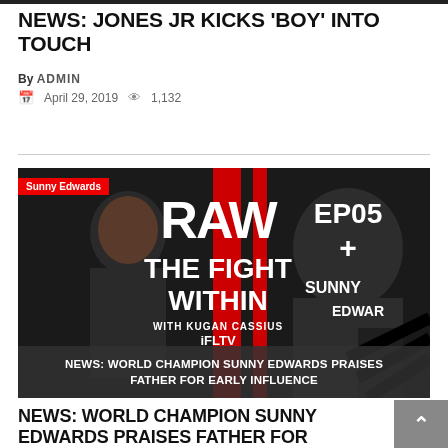NEWS: JONES JR KICKS 'BOY' INTO TOUCH
By ADMIN
April 29, 2019   1,132
[Figure (photo): Promotional image for 'Raw: The Fight Within' with Kugan Cassius on IFL TV, Episode 5, featuring Sunny Edwards. Shows two fighters on a dark red/black background with bold text overlay.]
NEWS: WORLD CHAMPION SUNNY EDWARDS PRAISES FATHER FOR EARLY INFLUENCE
NEWS: WORLD CHAMPION SUNNY EDWARDS PRAISES FATHER FOR EARLY INFLUENCE